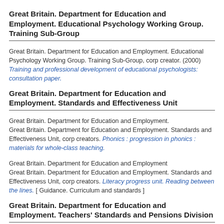Great Britain. Department for Education and Employment. Educational Psychology Working Group. Training Sub-Group
Great Britain. Department for Education and Employment. Educational Psychology Working Group. Training Sub-Group, corp creator. (2000) Training and professional development of educational psychologists: consultation paper.
Great Britain. Department for Education and Employment. Standards and Effectiveness Unit
Great Britain. Department for Education and Employment.
Great Britain. Department for Education and Employment. Standards and Effectiveness Unit, corp creators. Phonics : progression in phonics : materials for whole-class teaching.
Great Britain. Department for Education and Employment
Great Britain. Department for Education and Employment. Standards and Effectiveness Unit, corp creators. Literacy progress unit. Reading between the lines. [ Guidance. Curriculum and standards ]
Great Britain. Department for Education and Employment. Teachers' Standards and Pensions Division